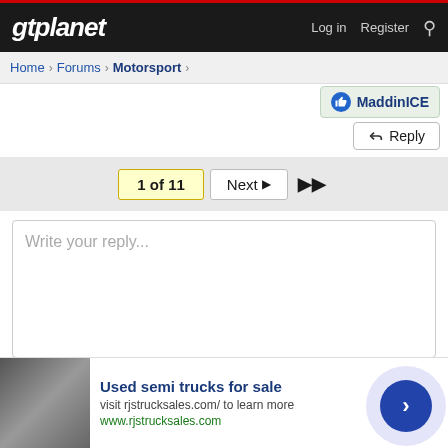gtplanet — Log in  Register
Home > Forums > Motorsport >
MaddinICE
Reply
1 of 11  Next ▶  ▶▶
Write your reply...
Post reply   More options
Used semi trucks for sale
visit rjstrucksales.com/ to learn more
www.rjstrucksales.com